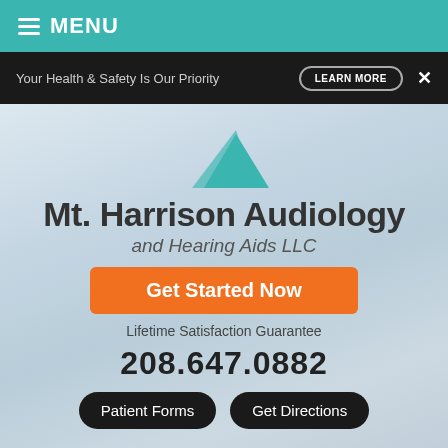MENU
Your Health & Safety Is Our Priority   LEARN MORE  ×
[Figure (logo): Mt. Harrison Audiology teal mountain logo mark above company name]
Mt. Harrison Audiology
and Hearing Aids LLC
Get Started Now
Lifetime Satisfaction Guarantee
208.647.0882
Patient Forms   Get Directions